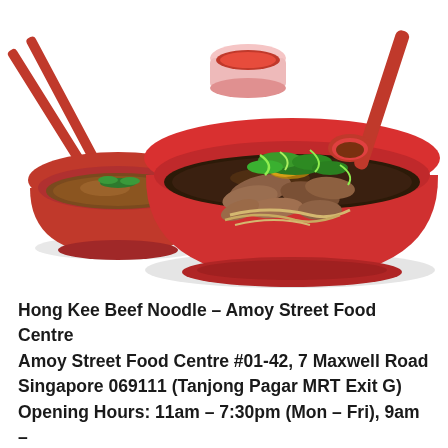[Figure (photo): Photo of bowls of beef noodle soup served in red bowls with red chopsticks and red spoon on white background. A large main bowl with dark broth topped with sliced beef and green herbs, a smaller side bowl with broth, and a small dipping sauce cup.]
Hong Kee Beef Noodle – Amoy Street Food Centre Amoy Street Food Centre #01-42, 7 Maxwell Road Singapore 069111 (Tanjong Pagar MRT Exit G) Opening Hours: 11am – 7:30pm (Mon – Fri), 9am – 2:30pm (Sat – Sun), Closed PH